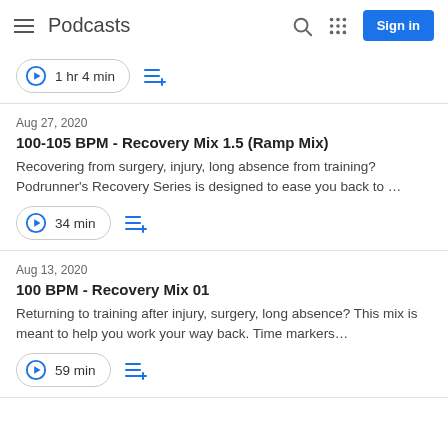Podcasts
1 hr 4 min
Aug 27, 2020
100-105 BPM - Recovery Mix 1.5 (Ramp Mix)
Recovering from surgery, injury, long absence from training? Podrunner's Recovery Series is designed to ease you back to ...
34 min
Aug 13, 2020
100 BPM - Recovery Mix 01
Returning to training after injury, surgery, long absence? This mix is meant to help you work your way back. Time markers…
59 min